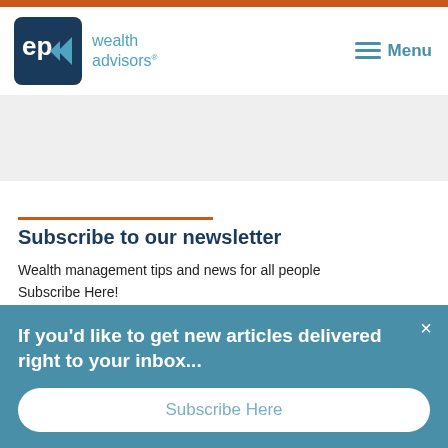[Figure (logo): EP Wealth Advisors logo with navigation menu button]
[Figure (other): Gray banner/image placeholder area]
Subscribe to our newsletter
Wealth management tips and news for all people
Subscribe Here!
If you’d like to get new articles delivered right to your inbox...
Subscribe Here